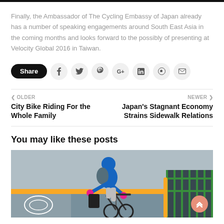Finally, the Ambassador of The Cycling Embassy of Japan already has a number of speaking engagements around South East Asia in the coming months and looks forward to the possibly of presenting at Velocity Global 2016 in Taiwan.
[Figure (infographic): Social share bar with Share button and icons for Facebook, Twitter, Pinterest, Google+, LinkedIn, WhatsApp, and Email]
« OLDER
City Bike Riding For the Whole Family
NEWER »
Japan's Stagnant Economy Strains Sidewalk Relations
You may like these posts
[Figure (photo): Person in blue jacket riding a bicycle on a city street near a yellow-striped curb and green fence]